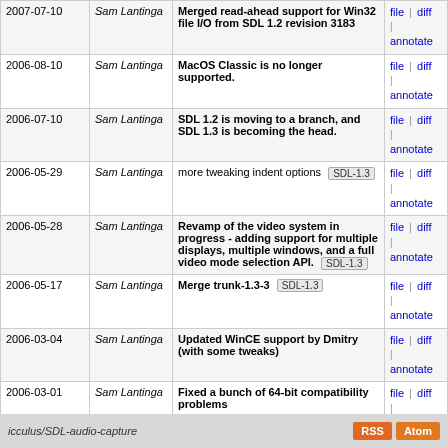| Date | Author | Message | Links |
| --- | --- | --- | --- |
| 2007-07-10 | Sam Lantinga | Merged read-ahead support for Win32 file I/O from SDL 1.2 revision 3183 | file | diff | annotate |
| 2006-08-10 | Sam Lantinga | MacOS Classic is no longer supported. | file | diff | annotate |
| 2006-07-10 | Sam Lantinga | SDL 1.2 is moving to a branch, and SDL 1.3 is becoming the head. | file | diff | annotate |
| 2006-05-29 | Sam Lantinga | more tweaking indent options [SDL-1.3] | file | diff | annotate |
| 2006-05-28 | Sam Lantinga | Revamp of the video system in progress - adding support for multiple displays, multiple windows, and a full video mode selection API. [SDL-1.3] | file | diff | annotate |
| 2006-05-17 | Sam Lantinga | Merge trunk-1.3-3 [SDL-1.3] | file | diff | annotate |
| 2006-03-04 | Sam Lantinga | Updated WinCE support by Dmitry (with some tweaks) | file | diff | annotate |
| 2006-03-01 | Sam Lantinga | Fixed a bunch of 64-bit compatibility problems | file | diff | annotate |
| 2006-02-27 | Sam Lantinga | Hah, standard stdio code crashed on the test case. | file | diff | annotate |
less more (0) -60 tip
icculus/SDL-audio-capture